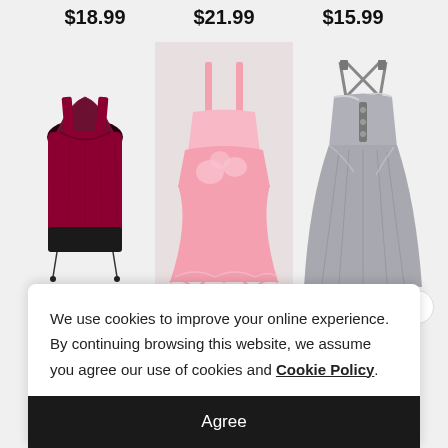$18.99
[Figure (photo): Dark red/maroon lace-back tank top with black ruched hem and drawstring details]
$19.99
$21.99
[Figure (photo): Pink layered cami top with floral lace overlay and handkerchief hem]
$19.99
$15.99
[Figure (photo): Silver metallic criss-cross back tank top with pleated skirt-style hem]
$19.99
We use cookies to improve your online experience. By continuing browsing this website, we assume you agree our use of cookies and Cookie Policy.
Agree